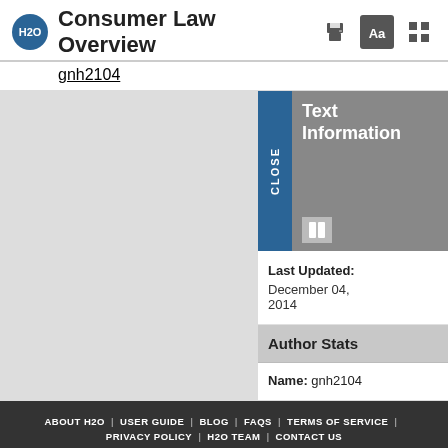H2O — Consumer Law Overview
gnh2104
[Figure (screenshot): H2O legal education platform UI showing 'Text Information' side panel with Close tab, Text Information header, Last Updated: December 04, 2014, Author Stats section, and Name: gnh2104 on a grey background.]
ABOUT H2O | USER GUIDE | BLOG | FAQS | TERMS OF SERVICE | PRIVACY POLICY | H2O TEAM | CONTACT US